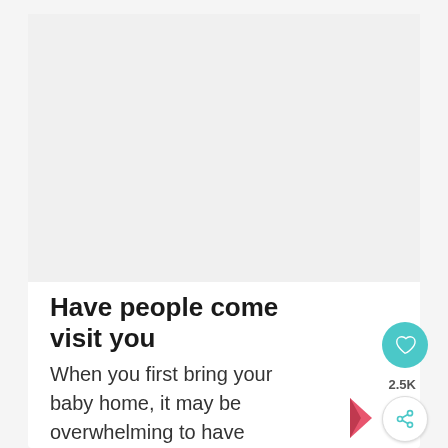[Figure (photo): Large image placeholder area at the top of the article card, light gray background]
Have people come visit you
When you first bring your baby home, it may be overwhelming to have company. However, as the weeks go on, it may be